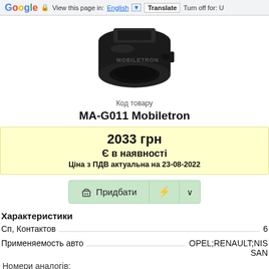Google | View this page in: English | Translate | Turn off for: U
[Figure (photo): Black mass air flow sensor (MAF) product photo with MOBILETRON branding]
Код товару
MA-G011 Mobiletron
2033 грн
Є в наявності
Ціна з ПДВ актуальна на 23-08-2022
Придбати
Характеристики
Сп, Контактов  6
Применяемость авто  OPEL;RENAULT;NISSAN
Номери аналогів:
Era:558003, MF003
Mobiletron:MA-G011, MAG011